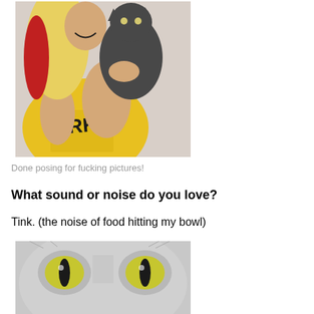[Figure (photo): A woman with blonde and red hair wearing a yellow top holding a dark gray cat up close to her face, smiling]
Done posing for fucking pictures!
What sound or noise do you love?
Tink. (the noise of food hitting my bowl)
[Figure (photo): Close-up of a gray cat's face with yellow-green eyes]